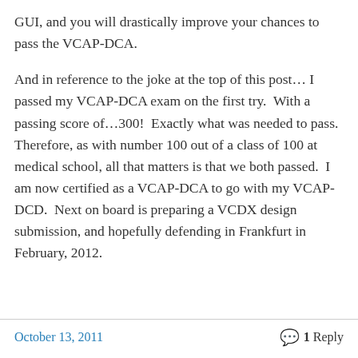GUI, and you will drastically improve your chances to pass the VCAP-DCA.
And in reference to the joke at the top of this post… I passed my VCAP-DCA exam on the first try.  With a passing score of…300!  Exactly what was needed to pass.  Therefore, as with number 100 out of a class of 100 at medical school, all that matters is that we both passed.  I am now certified as a VCAP-DCA to go with my VCAP-DCD.  Next on board is preparing a VCDX design submission, and hopefully defending in Frankfurt in February, 2012.
October 13, 2011    1 Reply